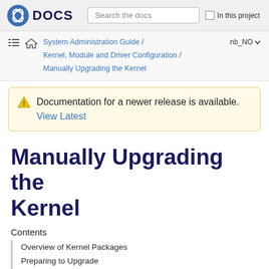Fedora DOCS — Search the docs — In this project
System Administration Guide / Kernel, Module and Driver Configuration / Manually Upgrading the Kernel
Documentation for a newer release is available. View Latest
Manually Upgrading the Kernel
Contents
Overview of Kernel Packages
Preparing to Upgrade
Downloading the Upgraded Kernel
Performing the Upgrade